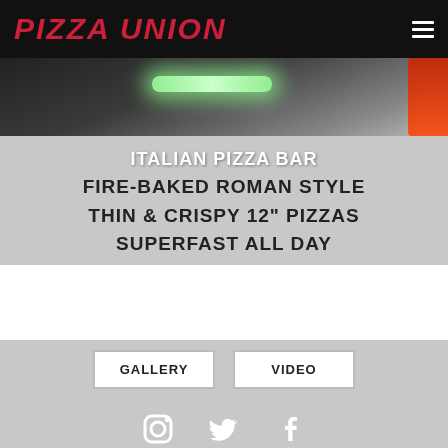PIZZA UNION
[Figure (photo): Dark background hero image with a glowing green fluorescent light strip and partial red neon element on the right]
ITALIAN PIZZA BAR
FIRE-BAKED ROMAN STYLE
THIN & CRISPY 12" PIZZAS
SUPERFAST ALL DAY
GALLERY
VIDEO
[Figure (illustration): Instagram, Twitter, and Facebook social media icons in white on circular grey backgrounds]